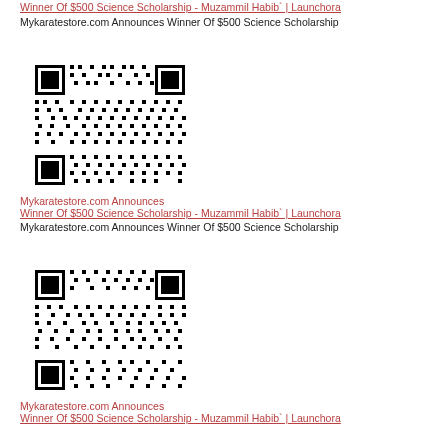Winner Of $500 Science Scholarship - Muzammil Habib` | Launchora
Mykaratestore.com Announces Winner Of $500 Science Scholarship
[Figure (other): QR code image]
Mykaratestore.com Announces Winner Of $500 Science Scholarship - Muzammil Habib` | Launchora
Mykaratestore.com Announces Winner Of $500 Science Scholarship
[Figure (other): QR code image]
Mykaratestore.com Announces Winner Of $500 Science Scholarship - Muzammil Habib` | Launchora